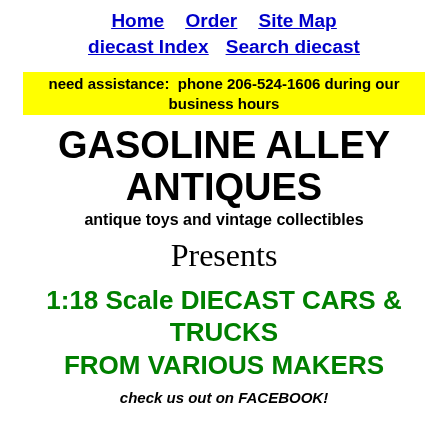Home   Order   Site Map
diecast Index   Search diecast
need assistance:  phone 206-524-1606 during our business hours
GASOLINE ALLEY ANTIQUES
antique toys and vintage collectibles
Presents
1:18 Scale DIECAST CARS & TRUCKS FROM VARIOUS MAKERS
check us out on FACEBOOK!